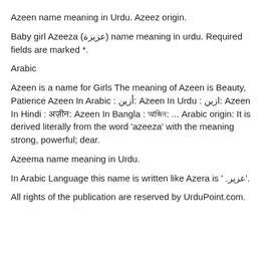Azeen name meaning in Urdu. Azeez origin.
Baby girl Azeeza (عزيزة) name meaning in urdu. Required fields are marked *.
Arabic
Azeen is a name for Girls The meaning of Azeen is Beauty, Patience Azeen In Arabic : أزين: Azeen In Urdu : ازین: Azeen In Hindi : अज़ीन: Azeen In Bangla : আজিন: ... Arabic origin: It is derived literally from the word 'azeeza' with the meaning strong, powerful; dear.
Azeema name meaning in Urdu.
In Arabic Language this name is written like Azera is 'عزیرہ'.
All rights of the publication are reserved by UrduPoint.com.